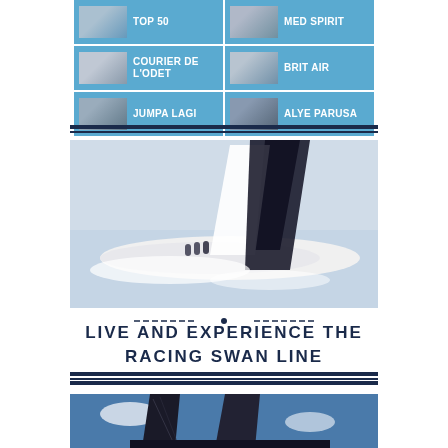[Figure (infographic): Grid of 6 boat entry cells, each with a thumbnail photo and boat name. TOP 50, MED SPIRIT, COURIER DE L'ODET, BRIT AIR, JUMPA LAGI, ALYE PARUSA]
[Figure (photo): Racing sailboat heeling hard to starboard in rough seas, white hull, dark sails, crew visible on deck]
LIVE AND EXPERIENCE THE RACING SWAN LINE
[Figure (photo): Dark racing sails from below against blue sky with clouds, dramatic low angle]